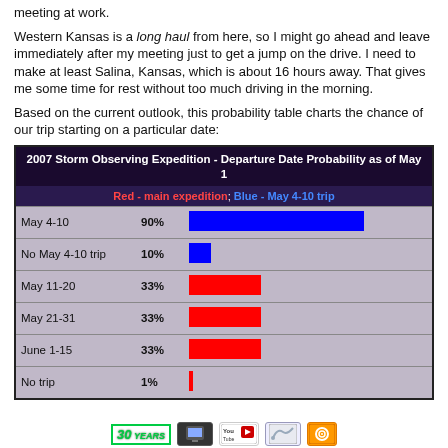meeting at work.
Western Kansas is a long haul from here, so I might go ahead and leave immediately after my meeting just to get a jump on the drive. I need to make at least Salina, Kansas, which is about 16 hours away. That gives me some time for rest without too much driving in the morning.
Based on the current outlook, this probability table charts the chance of our trip starting on a particular date:
| Date | Probability | Bar |
| --- | --- | --- |
| May 4-10 | 90% | blue bar ~90% |
| No May 4-10 trip | 10% | blue bar ~10% |
| May 11-20 | 33% | red bar ~33% |
| May 21-31 | 33% | red bar ~33% |
| June 1-15 | 33% | red bar ~33% |
| No trip | 1% | red bar ~1% |
[Figure (other): Footer icons: 30 Years logo, mobile icon, YouTube icon, Twitter icon, RSS icon]